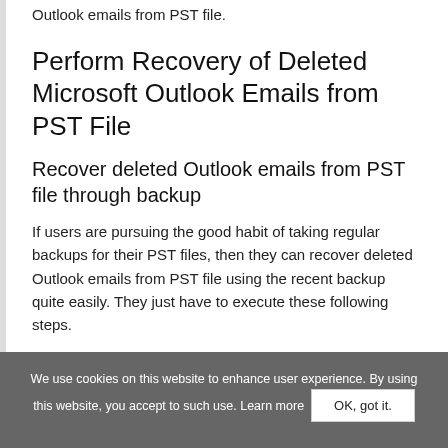Outlook emails from PST file.
Perform Recovery of Deleted Microsoft Outlook Emails from PST File
Recover deleted Outlook emails from PST file through backup
If users are pursuing the good habit of taking regular backups for their PST files, then they can recover deleted Outlook emails from PST file using the recent backup quite easily. They just have to execute these following steps.
1. Go to Start button, search for Control Panel
2. Search, backup and restore on in control panel
We use cookies on this website to enhance user experience. By using this website, you accept to such use. Learn more
OK, got it.